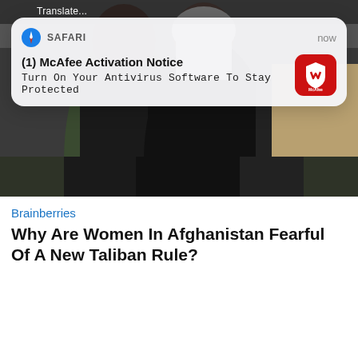[Figure (photo): Background photo of women in Afghanistan wearing dark clothing and headscarves, partially visible behind a notification overlay]
[Figure (screenshot): iOS Safari browser notification overlay showing McAfee Activation Notice with McAfee logo icon]
SAFARI
now
(1) McAfee Activation Notice
Turn On Your Antivirus Software To Stay Protected
Brainberries
Why Are Women In Afghanistan Fearful Of A New Taliban Rule?